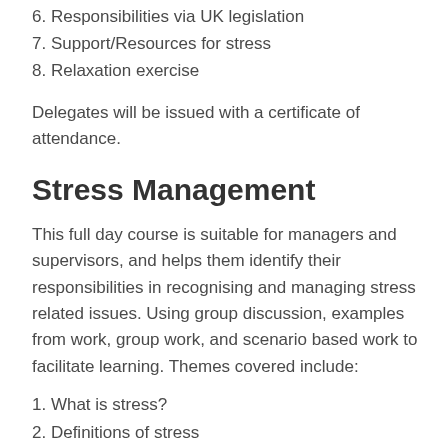6. Responsibilities via UK legislation
7. Support/Resources for stress
8. Relaxation exercise
Delegates will be issued with a certificate of attendance.
Stress Management
This full day course is suitable for managers and supervisors, and helps them identify their responsibilities in recognising and managing stress related issues. Using group discussion, examples from work, group work, and scenario based work to facilitate learning. Themes covered include:
1. What is stress?
2. Definitions of stress